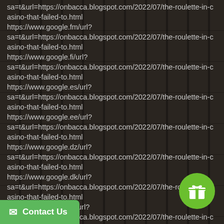sa=t&url=https://onbacca.blogspot.com/2022/07/the-roulette-in-casino-that-failed-to.html
https://www.google.fm/url?
sa=t&url=https://onbacca.blogspot.com/2022/07/the-roulette-in-casino-that-failed-to.html
https://www.google.fi/url?
sa=t&url=https://onbacca.blogspot.com/2022/07/the-roulette-in-casino-that-failed-to.html
https://www.google.es/url?
sa=t&url=https://onbacca.blogspot.com/2022/07/the-roulette-in-casino-that-failed-to.html
https://www.google.ee/url?
sa=t&url=https://onbacca.blogspot.com/2022/07/the-roulette-in-casino-that-failed-to.html
https://www.google.dz/url?
sa=t&url=https://onbacca.blogspot.com/2022/07/the-roulette-in-casino-that-failed-to.html
https://www.google.dk/url?
sa=t&url=https://onbacca.blogspot.com/2022/07/the-roulette-in-casino-that-failed-to.html
https://www.google.dj/url?
sa=t&url=https://onbacca.blogspot.com/2022/07/the-roulette-in-casino-that-failed-to.html